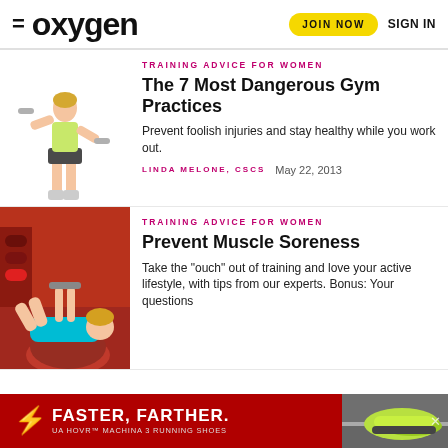oxygen — JOIN NOW | SIGN IN
[Figure (photo): Woman doing lateral raise with dumbbells, fitness photo on white background]
TRAINING ADVICE FOR WOMEN
The 7 Most Dangerous Gym Practices
Prevent foolish injuries and stay healthy while you work out.
LINDA MELONE, CSCS    May 22, 2013
[Figure (photo): Woman doing dumbbell press on exercise ball in gym setting]
TRAINING ADVICE FOR WOMEN
Prevent Muscle Soreness
Take the "ouch" out of training and love your active lifestyle, with tips from our experts. Bonus: Your questions
[Figure (photo): Under Armour advertisement banner: FASTER, FARTHER. UA HOVR MACHINA 3 RUNNING SHOES]